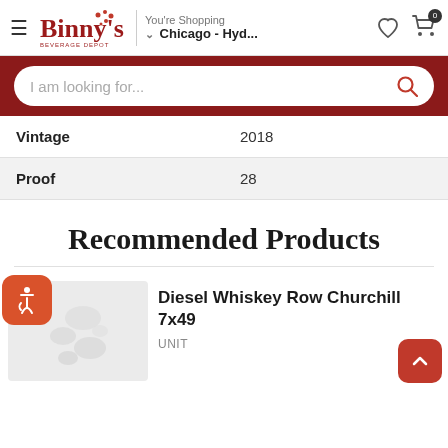Binny's Beverage Depot — You're Shopping Chicago - Hyd... ☰ ♡ 🛒 0
[Figure (screenshot): Binny's Beverage Depot logo with red text and dots]
I am looking for...
|  |  |
| --- | --- |
| Vintage | 2018 |
| Proof | 28 |
Recommended Products
Diesel Whiskey Row Churchill 7x49
UNIT